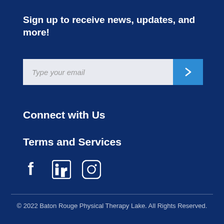Sign up to receive news, updates, and more!
[Figure (other): Email signup input field with a right-arrow submit button]
Connect with Us
Terms and Services
[Figure (other): Social media icons: Facebook, LinkedIn, Instagram]
© 2022 Baton Rouge Physical Therapy Lake. All Rights Reserved.